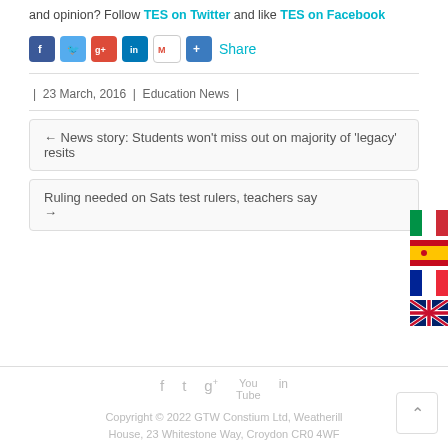and opinion? Follow TES on Twitter and like TES on Facebook
[Figure (infographic): Social sharing icons: Facebook, Twitter, Google+, LinkedIn, Gmail, Share button with label 'Share']
| 23 March, 2016 | Education News |
← News story: Students won't miss out on majority of 'legacy' resits
Ruling needed on Sats test rulers, teachers say →
[Figure (infographic): Flag icons for Italy, Spain, France, UK on right side]
Copyright © 2022 GTW Constium Ltd, Weatherill House, 23 Whitestone Way, Croydon CR0 4WF